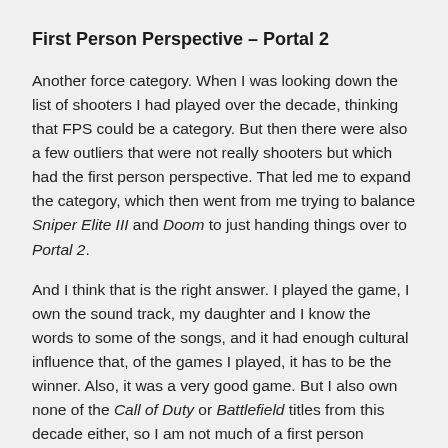First Person Perspective – Portal 2
Another force category.  When I was looking down the list of shooters I had played over the decade, thinking that FPS could be a category.  But then there were also a few outliers that were not really shooters but which had the first person perspective.  That led me to expand the category, which then went from me trying to balance Sniper Elite III and Doom to just handing things over to Portal 2.
And I think that is the right answer.  I played the game, I own the sound track, my daughter and I know the words to some of the songs, and it had enough cultural influence that, of the games I played, it has to be the winner.  Also, it was a very good game.  But I also own none of the Call of Duty or Battlefield titles from this decade either, so I am not much of a first person perspective fan.